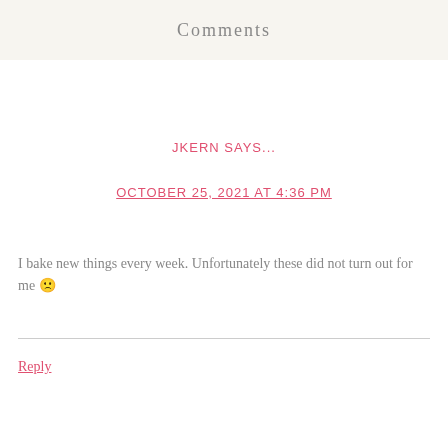Comments
JKERN SAYS...
OCTOBER 25, 2021 AT 4:36 PM
I bake new things every week. Unfortunately these did not turn out for me 🙁
Reply